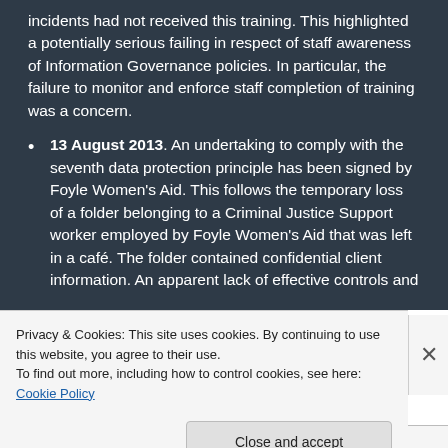incidents had not received this training. This highlighted a potentially serious failing in respect of staff awareness of Information Governance policies. In particular, the failure to monitor and enforce staff completion of training was a concern.
13 August 2013. An undertaking to comply with the seventh data protection principle has been signed by Foyle Women's Aid. This follows the temporary loss of a folder belonging to a Criminal Justice Support worker employed by Foyle Women's Aid that was left in a café. The folder contained confidential client information. An apparent lack of effective controls and
Privacy & Cookies: This site uses cookies. By continuing to use this website, you agree to their use.
To find out more, including how to control cookies, see here: Cookie Policy
Close and accept